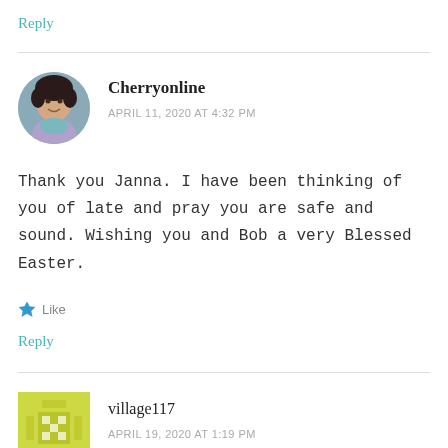Reply
[Figure (photo): Circular avatar photo of Cherryonline, a woman with dark curly hair wearing a light purple top]
Cherryonline
APRIL 11, 2020 AT 4:32 PM
Thank you Janna. I have been thinking of you of late and pray you are safe and sound. Wishing you and Bob a very Blessed Easter.
Like
Reply
[Figure (logo): Square pixelated quilt-pattern icon for village117 in yellow-green color]
village117
APRIL 19, 2020 AT 1:19 PM